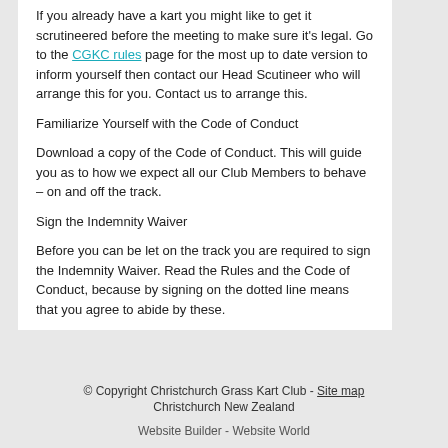If you already have a kart you might like to get it scrutineered before the meeting to make sure it's legal. Go to the CGKC rules page for the most up to date version to inform yourself then contact our Head Scutineer who will arrange this for you. Contact us to arrange this.
Familiarize Yourself with the Code of Conduct
Download a copy of the Code of Conduct. This will guide you as to how we expect all our Club Members to behave – on and off the track.
Sign the Indemnity Waiver
Before you can be let on the track you are required to sign the Indemnity Waiver. Read the Rules and the Code of Conduct, because by signing on the dotted line means that you agree to abide by these.
© Copyright Christchurch Grass Kart Club - Site map Christchurch New Zealand Website Builder - Website World